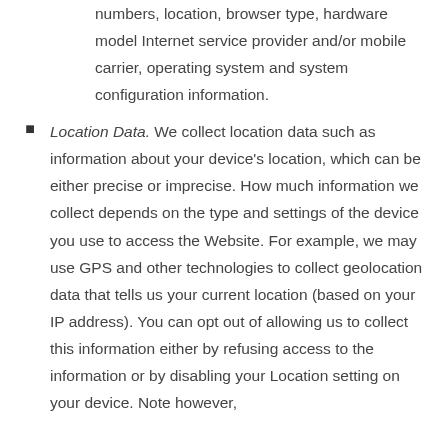numbers, location, browser type, hardware model Internet service provider and/or mobile carrier, operating system and system configuration information.
Location Data. We collect location data such as information about your device's location, which can be either precise or imprecise. How much information we collect depends on the type and settings of the device you use to access the Website. For example, we may use GPS and other technologies to collect geolocation data that tells us your current location (based on your IP address). You can opt out of allowing us to collect this information either by refusing access to the information or by disabling your Location setting on your device. Note however,